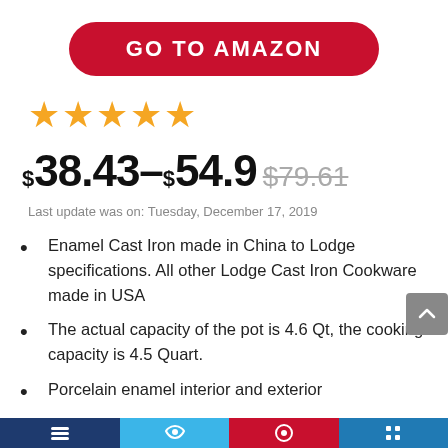[Figure (other): Red rounded rectangle button with white bold text 'GO TO AMAZON']
[Figure (other): Five gold star rating icons]
$38.43–$54.9 $79.61 (strikethrough)
Last update was on: Tuesday, December 17, 2019
Enamel Cast Iron made in China to Lodge specifications. All other Lodge Cast Iron Cookware made in USA
The actual capacity of the pot is 4.6 Qt, the cooking capacity is 4.5 Quart.
Porcelain enamel interior and exterior